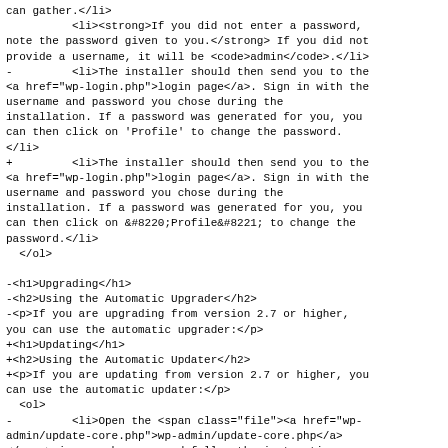can gather.</li>
          <li><strong>If you did not enter a password, note the password given to you.</strong> If you did not provide a username, it will be <code>admin</code>.</li>
-         <li>The installer should then send you to the <a href="wp-login.php">login page</a>. Sign in with the username and password you chose during the installation. If a password was generated for you, you can then click on 'Profile' to change the password.</li>
+         <li>The installer should then send you to the <a href="wp-login.php">login page</a>. Sign in with the username and password you chose during the installation. If a password was generated for you, you can then click on &#8220;Profile&#8221; to change the password.</li>
  </ol>

-<h1>Upgrading</h1>
-<h2>Using the Automatic Upgrader</h2>
-<p>If you are upgrading from version 2.7 or higher, you can use the automatic upgrader:</p>
+<h1>Updating</h1>
+<h2>Using the Automatic Updater</h2>
+<p>If you are updating from version 2.7 or higher, you can use the automatic updater:</p>
  <ol>
-         <li>Open the <span class="file"><a href="wp-admin/update-core.php">wp-admin/update-core.php</a></span> in your browser and follow the instructions